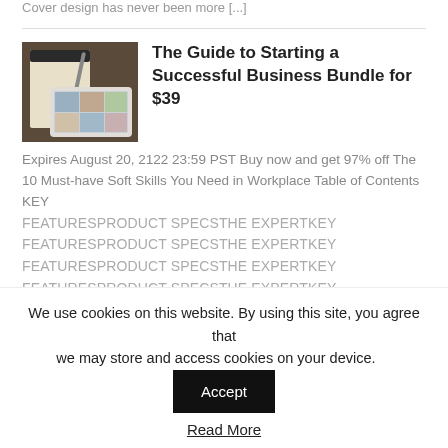Cover design has never been more [...]
The Guide to Starting a Successful Business Bundle for $39
[Figure (photo): Photo of a notebook and tablet on a desk]
Expires August 20, 2122 23:59 PST Buy now and get 97% off The 10 Must-have Soft Skills You Need in Workplace Table of Contents KEY FEATURESPRODUCT SPECSTHE EXPERTKEY FEATURESPRODUCT SPECSTHE EXPERTKEY FEATURESPRODUCT SPECSTHE EXPERTKEY FEATURESPRODUCT SPECSTHE EXPERTKEY FEATURESPRODUCT SPECSTHE EXPERTKEY
We use cookies on this website. By using this site, you agree that we may store and access cookies on your device.
Accept
Read More